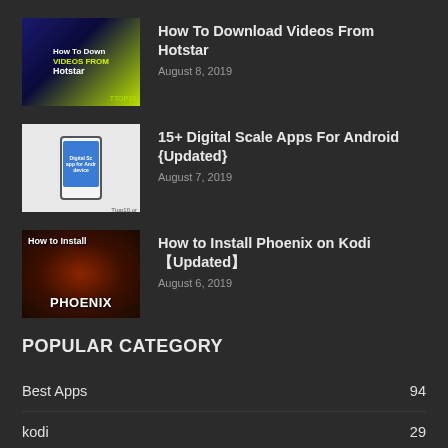[Figure (screenshot): Thumbnail for 'How To Download Videos From Hotstar' article - dark blue and green gradient background with text overlay]
How To Download Videos From Hotstar
August 8, 2019
[Figure (screenshot): Thumbnail for '15+ Digital Scale Apps For Android' article - shows a hand holding a smartphone with a digital scale app on screen]
15+ Digital Scale Apps For Android {Updated}
August 7, 2019
[Figure (screenshot): Thumbnail for 'How to Install Phoenix on Kodi' article - dark fiery background with PHOENIX text in white bold letters]
How to Install Phoenix on Kodi【Updated】
August 6, 2019
POPULAR CATEGORY
Best Apps  94
kodi  29
Top 5  28